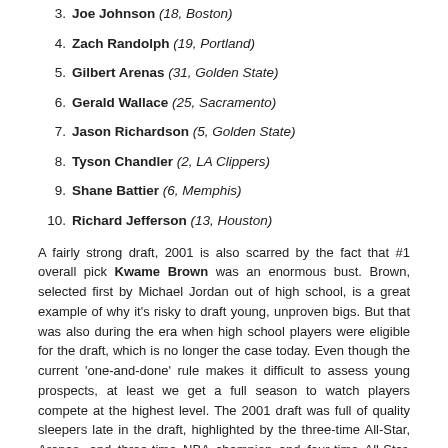3. Joe Johnson (18, Boston)
4. Zach Randolph (19, Portland)
5. Gilbert Arenas (31, Golden State)
6. Gerald Wallace (25, Sacramento)
7. Jason Richardson (5, Golden State)
8. Tyson Chandler (2, LA Clippers)
9. Shane Battier (6, Memphis)
10. Richard Jefferson (13, Houston)
A fairly strong draft, 2001 is also scarred by the fact that #1 overall pick Kwame Brown was an enormous bust. Brown, selected first by Michael Jordan out of high school, is a great example of why it’s risky to draft young, unproven bigs. But that was also during the era when high school players were eligible for the draft, which is no longer the case today. Even though the current ‘one-and-done’ rule makes it difficult to assess young prospects, at least we get a full season to watch players compete at the highest level. The 2001 draft was full of quality sleepers late in the draft, highlighted by the three-time All-Star, Arenas, and three-time NBA champion and four-time All-Star, Parker, both falling past pick #27. Parker likely fell because he was such a young, foreign player; yet Gasol was a similar prospect who scouts nailed with the #3 overall selection. The 2001 draft proves how difficult it is to differentiate players of varying positions, ages, and levels of play.
READ THE REST OF THIS ENTRY »